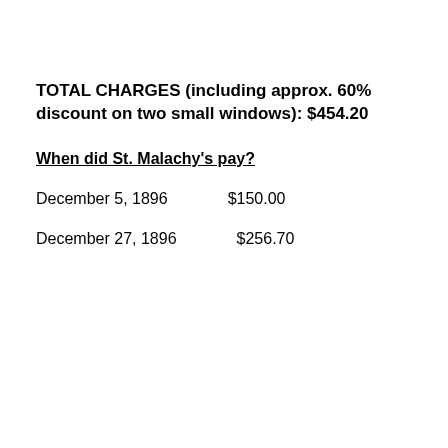TOTAL CHARGES (including approx. 60% discount on two small windows): $454.20
When did St. Malachy's pay?
December 5, 1896    $150.00
December 27, 1896    $256.70
Privacy & Cookies: This site uses cookies. By continuing to use this website, you agree to their use.
To find out more, including how to control cookies, see here: Cookie Policy